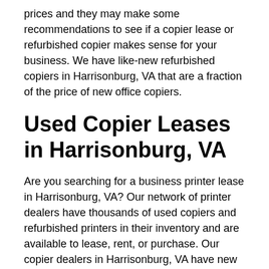prices and they may make some recommendations to see if a copier lease or refurbished copier makes sense for your business. We have like-new refurbished copiers in Harrisonburg, VA that are a fraction of the price of new office copiers.
Used Copier Leases in Harrisonburg, VA
Are you searching for a business printer lease in Harrisonburg, VA? Our network of printer dealers have thousands of used copiers and refurbished printers in their inventory and are available to lease, rent, or purchase. Our copier dealers in Harrisonburg, VA have new or refurbished business printers for rent, and our dealers will give you the most competitive prices available. Do you need a printer rental in Harrisonburg, VA? Our dealers lease, rent, and sell these types of printers and